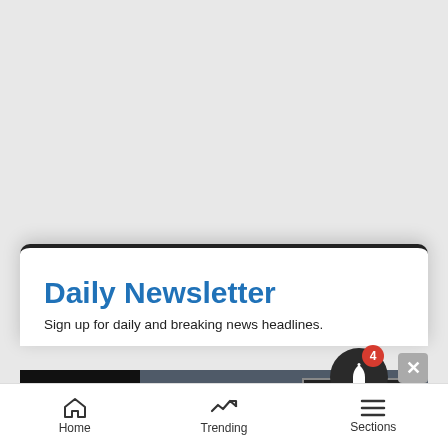[Figure (screenshot): Gray background area at top of mobile screen]
Daily Newsletter
Sign up for daily and breaking news headlines.
[Figure (screenshot): Seamless food delivery advertisement banner with pizza image, Seamless logo in red, and ORDER NOW button]
Ema
[Figure (other): Notification bell icon with red badge showing 4 notifications, and X close button]
Home    Trending    Sections